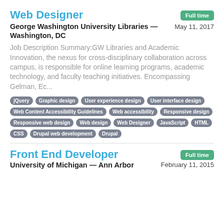Web Designer
Full time
George Washington University Libraries — Washington, DC
May 11, 2017
Job Description Summary:GW Libraries and Academic Innovation, the nexus for cross-disciplinary collaboration across campus, is responsible for online learning programs, academic technology, and faculty teaching initiatives. Encompassing Gelman, Ec...
jQuery  Graphic design  User experience design  User interface design  Web Content Accessibility Guidelines  Web accessibility  Responsive design  Responsive web design  Web design  Web Designer  JavaScript  HTML  CSS  Drupal web development  Drupal
Front End Developer
Full time
University of Michigan — Ann Arbor
February 11, 2015